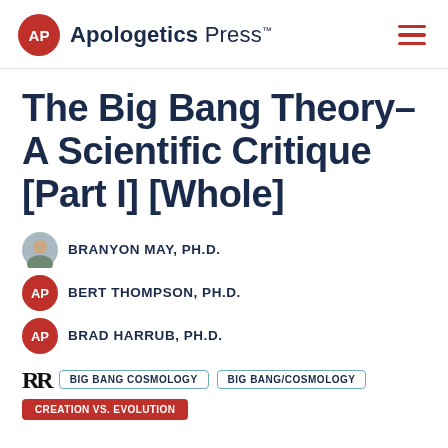Apologetics Press™
The Big Bang Theory–A Scientific Critique [Part I] [Whole]
BRANYON MAY, Ph.D.
BERT THOMPSON, Ph.D.
BRAD HARRUB, Ph.D.
BIG BANG COSMOLOGY  BIG BANG/COSMOLOGY  CREATION VS. EVOLUTION